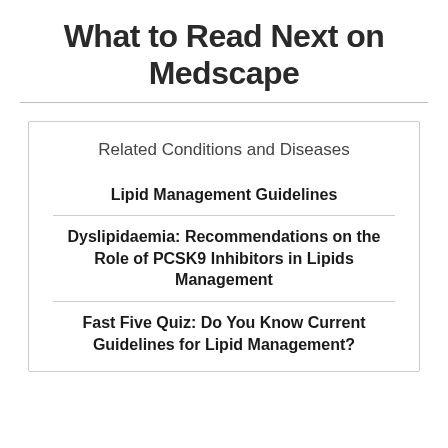What to Read Next on Medscape
Related Conditions and Diseases
Lipid Management Guidelines
Dyslipidaemia: Recommendations on the Role of PCSK9 Inhibitors in Lipids Management
Fast Five Quiz: Do You Know Current Guidelines for Lipid Management?